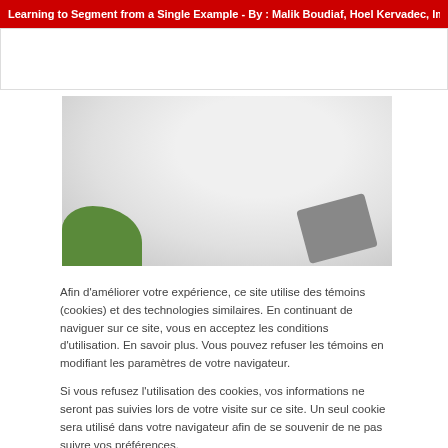Learning to Segment from a Single Example - By : Malik Boudiaf, Hoel Kervadec, Imtiaz Ma
[Figure (photo): A person in a white lab coat writing on a tablet/notepad, with green plants visible at the bottom left corner]
Afin d'améliorer votre expérience, ce site utilise des témoins (cookies) et des technologies similaires. En continuant de naviguer sur ce site, vous en acceptez les conditions d'utilisation. En savoir plus. Vous pouvez refuser les témoins en modifiant les paramètres de votre navigateur.
Si vous refusez l'utilisation des cookies, vos informations ne seront pas suivies lors de votre visite sur ce site. Un seul cookie sera utilisé dans votre navigateur afin de se souvenir de ne pas suivre vos préférences.
J'accepte
Refuser